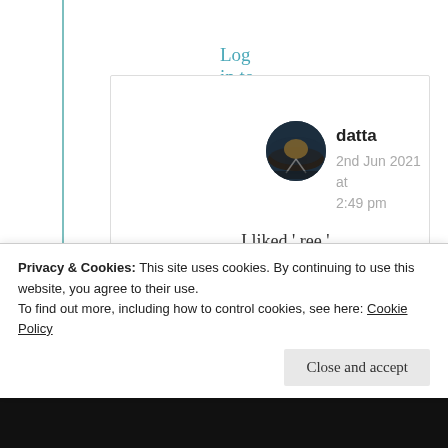Log in to Reply
datta
2nd Jun 2021 at 2:49 pm
I liked ‘ ree ’
🙏
Privacy & Cookies: This site uses cookies. By continuing to use this website, you agree to their use.
To find out more, including how to control cookies, see here: Cookie Policy
Close and accept